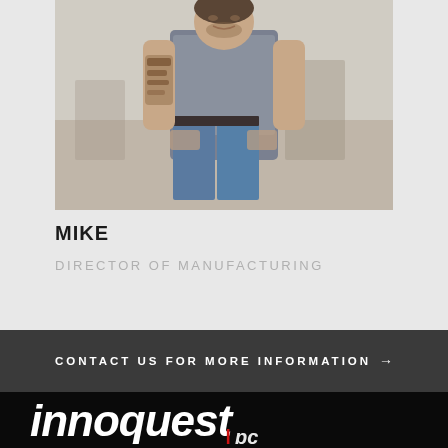[Figure (photo): Photo of Mike, Director of Manufacturing — a man in a gray t-shirt and blue jeans with tattoos on his arm, standing with hands in pockets in an industrial setting.]
MIKE
DIRECTOR OF MANUFACTURING
CONTACT US FOR MORE INFORMATION →
[Figure (logo): Innoquest logo in white italic lettering with a red accent element, on a black background.]